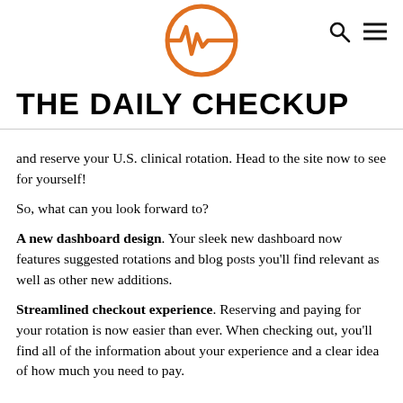[Figure (logo): The Daily Checkup logo — orange circle with a heartbeat/pulse waveform symbol inside]
THE DAILY CHECKUP
and reserve your U.S. clinical rotation. Head to the site now to see for yourself!
So, what can you look forward to?
A new dashboard design. Your sleek new dashboard now features suggested rotations and blog posts you'll find relevant as well as other new additions.
Streamlined checkout experience. Reserving and paying for your rotation is now easier than ever. When checking out, you'll find all of the information about your experience and a clear idea of how much you need to pay.